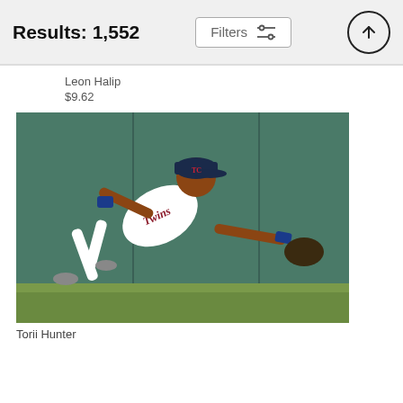Results: 1,552
Filters
Leon Halip
$9.62
[Figure (photo): Baseball player in Minnesota Twins white uniform diving to catch a ball in the outfield, wearing a navy cap and blue wristbands, reaching out with glove toward lower right]
Torii Hunter